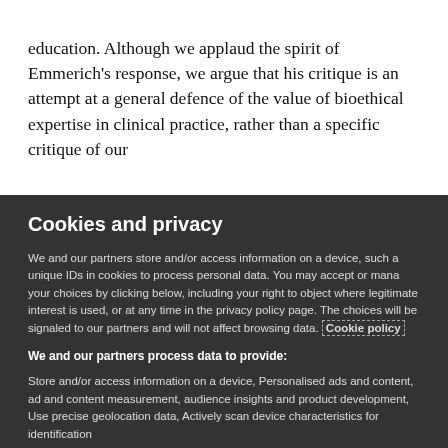education. Although we applaud the spirit of Emmerich's response, we argue that his critique is an attempt at a general defence of the value of bioethical expertise in clinical practice, rather than a specific critique of our
Cookies and privacy
We and our partners store and/or access information on a device, such as unique IDs in cookies to process personal data. You may accept or manage your choices by clicking below, including your right to object where legitimate interest is used, or at any time in the privacy policy page. These choices will be signaled to our partners and will not affect browsing data. Cookie policy
We and our partners process data to provide:
Store and/or access information on a device, Personalised ads and content, ad and content measurement, audience insights and product development, Use precise geolocation data, Actively scan device characteristics for identification
List of Partners (vendors)